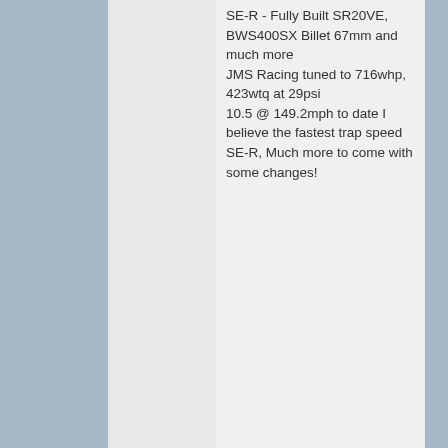SE-R - Fully Built SR20VE, BWS400SX Billet 67mm and much more
JMS Racing tuned to 716whp, 423wtq at 29psi
10.5 @ 149.2mph to date I believe the fastest trap speed SE-R, Much more to come with some changes!
Reply | Reply With Quote
2009-09-03 03:45:15   #2
91serturbo
Member
Join Date: 2008-04-27
Location:
Posts: 194
Trader Score: 0 (0%)
who sells good quality rebuild kits?
0 Likes